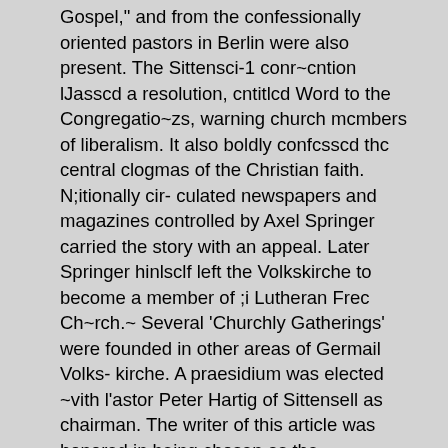Gospel," and from the confessionally oriented pastors in Berlin were also present. The Sittensci-1 conr~cntion lJasscd a resolution, cntitlcd Word to the Congregatio~zs, warning church mcmbers of liberalism. It also boldly confcsscd thc central clogmas of the Christian faith. N;itionally cir- culated newspapers and magazines controlled by Axel Springer carried the story with an appeal. Later Springer hinlsclf left the Volkskirche to become a member of ;i Lutheran Frec Ch~rch.~ Several 'Churchly Gatherings' were founded in other areas of Germail Volks- kirche. A praesidium was elected ~vith l'astor Peter Hartig of Sittensell as chairman. The writer of this article was honored in being chosen as the representative for the Gcriiiaii Lutheran Free Churches in thc Significant progress mas nlacle with the establishnient of a 1 periodical Das Inforlrtatio~zsblntl Kirchlichc SammZurtg published by Stcltcn l'ublishing House (Brcmcn, Postfach 4 195 09). Through it I 1 the voice of the confessional Lutheranisni can be heard in the Volks- 1 kirche and more can bc reached. The Bleckmar Mission House I 1 opcnetl its doors for retreats and theological conferences. The I Oberursel Thcological Seminary of the Lutheran Free Churches gave an opportunit~ to thc 'Churchly Gatherings' to establish their own chair of theology. Thus thc future